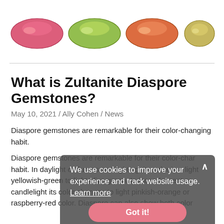[Figure (photo): Four marquise-cut gemstones in a row showing color variations: pink/red, green, orange-red, and yellowish-green (Zultanite Diaspore gemstones)]
What is Zultanite Diaspore Gemstones?
May 10, 2021 / Ally Cohen / News
Diaspore gemstones are remarkable for their color-changing habit.
Diaspore gemstones are remarkable for their color-changing habit. In daylight or fluorescent lighting, its color is a light yellowish-green to light olive green. In incandescent or candlelight its color changes to light pinkish-orange or raspberry-red color. Diaspore can also show both color
We use cookies to improve your experience and track website usage. Learn more
Got it!